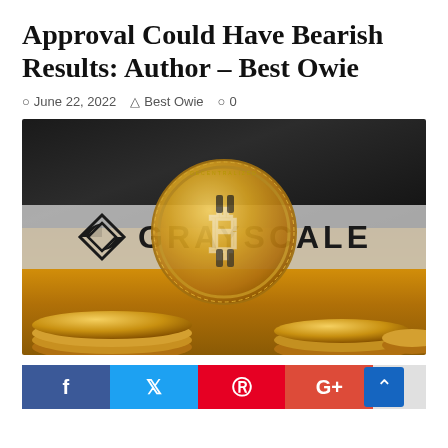Approval Could Have Bearish Results: Author – Best Owie
June 22, 2022  Best Owie  0
[Figure (photo): Grayscale logo banner overlaid on image of golden Bitcoin coins against dark and warm background]
Social share buttons: Facebook, Twitter, Pinterest, Google+